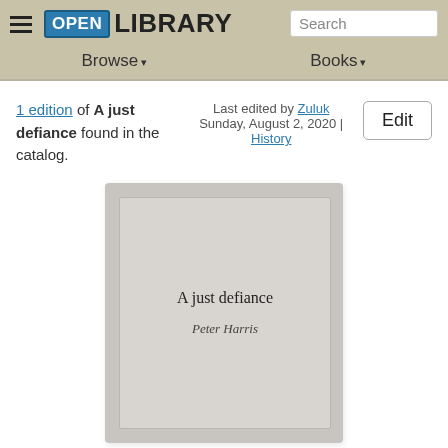Open Library — Browse | Books | Search
1 edition of A just defiance found in the catalog.
Last edited by Zuluk
Sunday, August 2, 2020 | History
[Figure (illustration): Book cover placeholder showing 'A just defiance' by Peter Harris on a grey background]